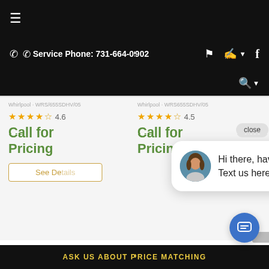≡ (hamburger menu)
Service Phone: 731-664-0902
4.6 (rating, 4.5 stars shown) — Call for Pricing — See Details button
4.5 (rating, 4.5 stars shown) — Call for Pricing
close | Hi there, have a question? Text us here.
ASK US ABOUT PRICE MATCHING